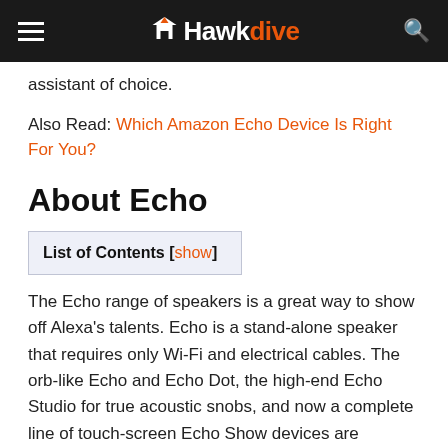Hawkdive
assistant of choice.
Also Read: Which Amazon Echo Device Is Right For You?
About Echo
List of Contents [show]
The Echo range of speakers is a great way to show off Alexa's talents. Echo is a stand-alone speaker that requires only Wi-Fi and electrical cables. The orb-like Echo and Echo Dot, the high-end Echo Studio for true acoustic snobs, and now a complete line of touch-screen Echo Show devices are available. They all have their very own quirks, but the